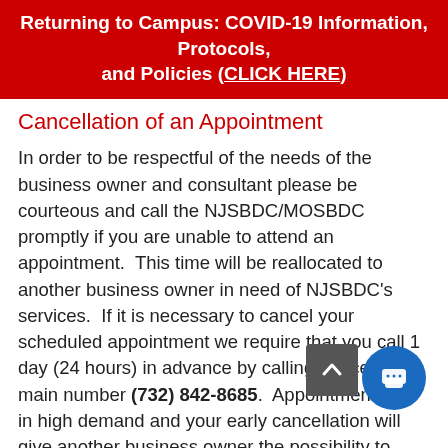Returning to Campus: COVID-19 Information, Protocols, and Policies (CLICK HERE)
Cancellation of an Appointment
In order to be respectful of the needs of the business owner and consultant please be courteous and call the NJSBDC/MOSBDC promptly if you are unable to attend an appointment.  This time will be reallocated to another business owner in need of NJSBDC's services.  If it is necessary to cancel your scheduled appointment we require that you call 1 day (24 hours) in advance by calling the center's main number (732) 842-8685.  Appointments are in high demand and your early cancellation will give another business owner the possibility to have access to timely business counseling.
Late Cancellations